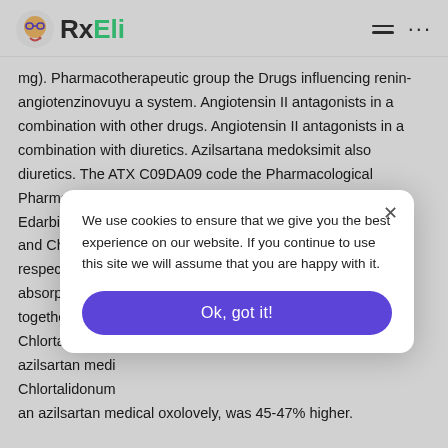RxEli
mg). Pharmacotherapeutic group the Drugs influencing renin-angiotenzinovuyu a system. Angiotensin II antagonists in a combination with other drugs. Angiotensin II antagonists in a combination with diuretics. Azilsartana medoksimit also diuretics. The ATX C09DA09 code the Pharmacological Pharmacokinetics Absorption later properties of reception Edarbi® of Klo and Chlortalido respectively. Sp absorption (AU together with C Chlortalidonum azilsartan medi Chlortalidonum an azilsartan medical oxolovely, was 45-47% higher.
We use cookies to ensure that we give you the best experience on our website. If you continue to use this site we will assume that you are happy with it.